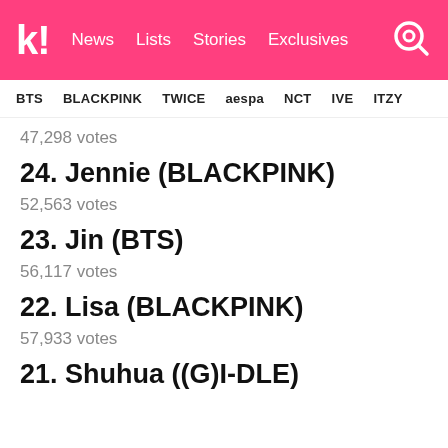k! News Lists Stories Exclusives
BTS BLACKPINK TWICE aespa NCT IVE ITZY
47,298 votes
24. Jennie (BLACKPINK)
52,563 votes
23. Jin (BTS)
56,117 votes
22. Lisa (BLACKPINK)
57,933 votes
21. Shuhua ((G)I-DLE)